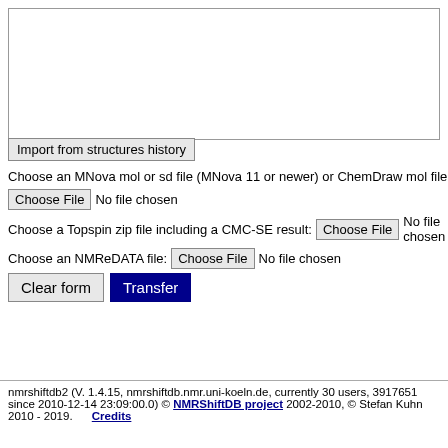[Figure (screenshot): Empty text area / input box at top of form]
Import from structures history
Choose an MNova mol or sd file (MNova 11 or newer) or ChemDraw mol file with labels:
Choose File  No file chosen
Choose a Topspin zip file including a CMC-SE result:  Choose File  No file chosen
Choose an NMReDATA file:  Choose File  No file chosen
Clear form   Transfer
nmrshiftdb2 (V. 1.4.15, nmrshiftdb.nmr.uni-koeln.de, currently 30 users, 3917651 since 2010-12-14 23:09:00.0) © NMRShiftDB project 2002-2010, © Stefan Kuhn 2010 - 2019.  Credits